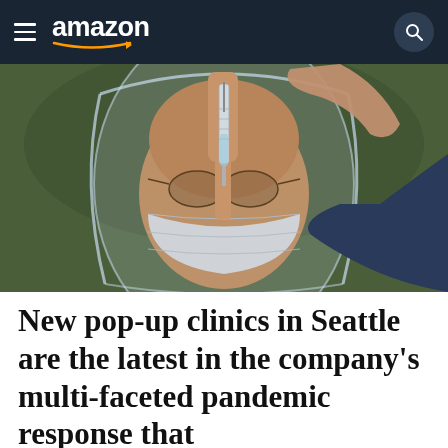amazon
[Figure (photo): A healthcare worker wearing a face shield, glasses, and surgical mask holds a syringe (vaccine) up close to the camera, examining it.]
New pop-up clinics in Seattle are the latest in the company's multi-faceted pandemic response that